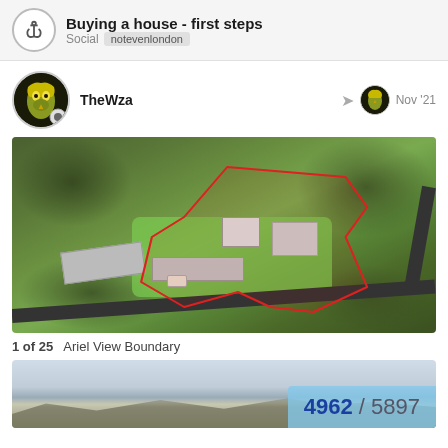Buying a house - first steps
Social notevenlondon
TheWzaNov '21
[Figure (photo): Aerial drone view of a rural property with red boundary lines drawn over the image showing the property extent. Multiple buildings and green lawn visible with surrounding countryside.]
1 of 25   Ariel View Boundary
[Figure (photo): Partial bottom image showing sky and hills, with counter overlay showing 4962 / 5897]